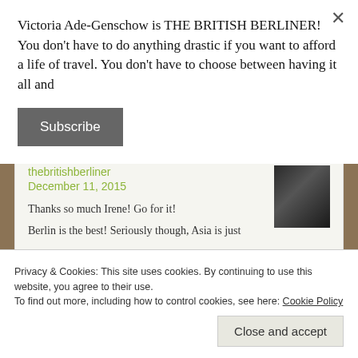Victoria Ade-Genschow is THE BRITISH BERLINER! You don't have to do anything drastic if you want to afford a life of travel. You don't have to choose between having it all and
Subscribe
thebritishberliner
December 11, 2015

Thanks so much Irene! Go for it!
Berlin is the best! Seriously though, Asia is just
Privacy & Cookies: This site uses cookies. By continuing to use this website, you agree to their use.
To find out more, including how to control cookies, see here: Cookie Policy
Close and accept